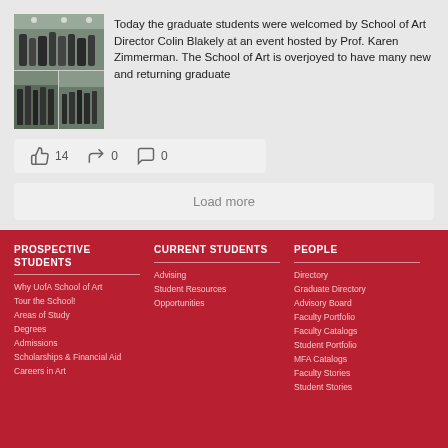[Figure (photo): Photo grid of graduate students at a school event, showing people gathered in a gallery/art space]
Today the graduate students were welcomed by School of Art Director Colin Blakely at an event hosted by Prof. Karen Zimmerman. The School of Art is overjoyed to have many new and returning graduate
👍 14   ↪ 0   💬 0
Load more
PROSPECTIVE STUDENTS
CURRENT STUDENTS
PEOPLE
Why UofA School of Art
Tour the School!
Areas of Study
Degrees
Admissions
Scholarships & Financial Aid
Careers in Art
Advising
Student Resources
Opportunities
Directory
Graduate Directory
Advisory Board
Faculty Portfolio
Faculty Catalogs
Student Portfolio
MFA Catalogs
Faculty Stories
Student Stories